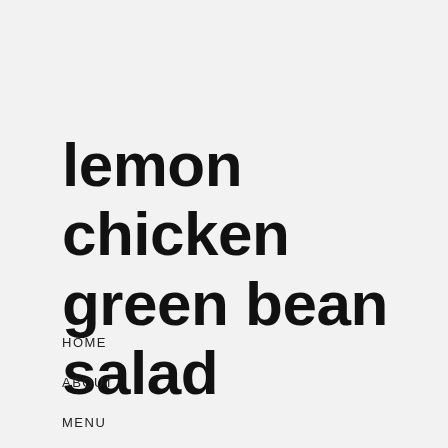lemon chicken green bean salad
HOME
ABOUT
MENU